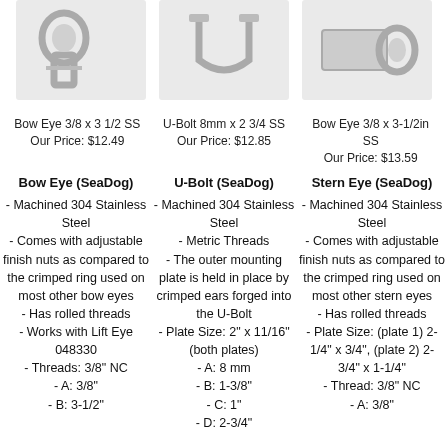[Figure (photo): Three product photos: Bow Eye, U-Bolt, and Stern Eye stainless steel marine hardware shown in a row at the top of the page.]
Bow Eye 3/8 x 3 1/2 SS  Our Price: $12.49
U-Bolt 8mm x 2 3/4 SS  Our Price: $12.85
Bow Eye 3/8 x 3-1/2in SS  Our Price: $13.59
Bow Eye (SeaDog)
- Machined 304 Stainless Steel
- Comes with adjustable finish nuts as compared to the crimped ring used on most other bow eyes
- Has rolled threads
- Works with Lift Eye 048330
- Threads: 3/8" NC
- A: 3/8"
- B: 3-1/2"
U-Bolt (SeaDog)
- Machined 304 Stainless Steel
- Metric Threads
- The outer mounting plate is held in place by crimped ears forged into the U-Bolt
- Plate Size: 2" x 11/16" (both plates)
- A: 8 mm
- B: 1-3/8"
- C: 1"
- D: 2-3/4"
Stern Eye (SeaDog)
- Machined 304 Stainless Steel
- Comes with adjustable finish nuts as compared to the crimped ring used on most other stern eyes
- Has rolled threads
- Plate Size: (plate 1) 2-1/4" x 3/4", (plate 2) 2-3/4" x 1-1/4"
- Thread: 3/8" NC
- A: 3/8"